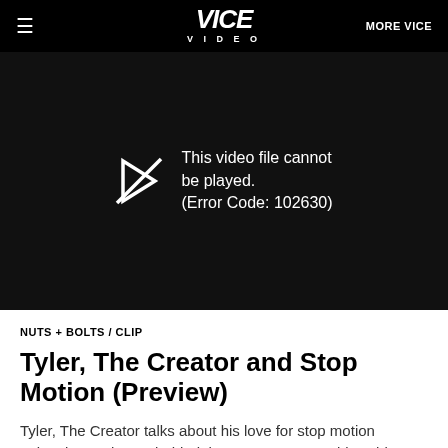≡  VICE VIDEO  MORE VICE
[Figure (screenshot): Black video player area showing error message: 'This video file cannot be played. (Error Code: 102630)' with a play button arrow icon on the left.]
NUTS + BOLTS / CLIP
Tyler, The Creator and Stop Motion (Preview)
Tyler, The Creator talks about his love for stop motion animation and goes behind the scenes at Stoopid Buddy Stoodios, which